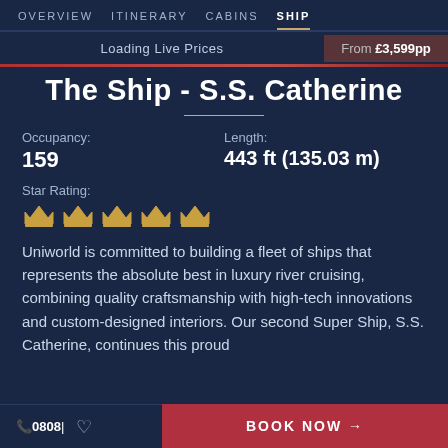OVERVIEW  ITINERARY  CABINS  SHIP
Loading Live Prices
From £3,599pp
The Ship - S.S. Catherine
Occupancy:
159
Length:
443 ft (135.03 m)
Star Rating:
[Figure (illustration): Five gold crown icons representing 5-star rating]
Uniworld is committed to building a fleet of ships that represents the absolute best in luxury river cruising, combining quality craftsmanship with high-tech innovations and custom-designed interiors. Our second Super Ship, S.S. Catherine, continues this proud
📞0808|  ♡   BOOK NOW →